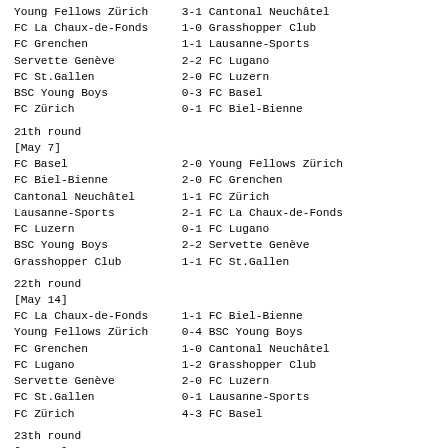Young Fellows Zürich     3-1 Cantonal Neuchâtel
FC La Chaux-de-Fonds     1-0 Grasshopper Club
FC Grenchen              1-1 Lausanne-Sports
Servette Genève          2-2 FC Lugano
FC St.Gallen             2-0 FC Luzern
BSC Young Boys           0-3 FC Basel
FC Zürich                0-1 FC Biel-Bienne
21th round
[May 7]
FC Basel                 2-0 Young Fellows Zürich
FC Biel-Bienne           2-0 FC Grenchen
Cantonal Neuchâtel       1-1 FC Zürich
Lausanne-Sports          2-1 FC La Chaux-de-Fonds
FC Luzern                0-1 FC Lugano
BSC Young Boys           2-2 Servette Genève
Grasshopper Club         1-1 FC St.Gallen
22th round
[May 14]
FC La Chaux-de-Fonds     1-1 FC Biel-Bienne
Young Fellows Zürich     0-4 BSC Young Boys
FC Grenchen              1-0 Cantonal Neuchâtel
FC Lugano                1-2 Grasshopper Club
Servette Genève          2-0 FC Luzern
FC St.Gallen             0-1 Lausanne-Sports
FC Zürich                4-3 FC Basel
23th round
[May 21]